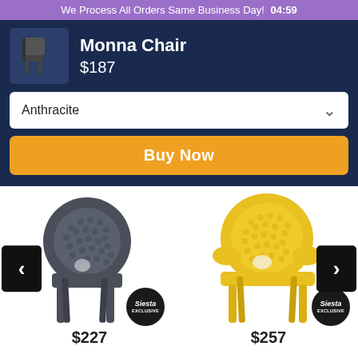We Process All Orders Same Business Day!  04:59
Monna Chair
$187
Anthracite
Buy Now
[Figure (photo): Dark anthracite perforated plastic side chair with lattice back against white background, Siesta Exclusive brand badge]
[Figure (photo): Yellow perforated plastic armchair with lattice back against white background, Siesta Exclusive brand badge]
$227
$257